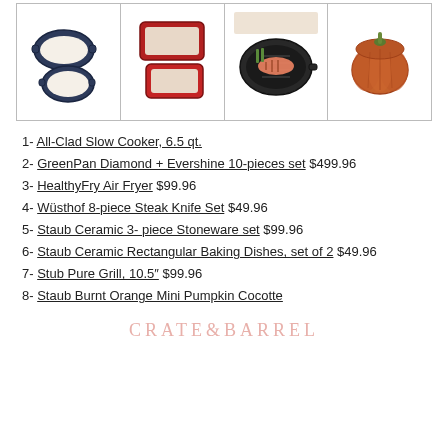[Figure (photo): Grid of 4 product images: (1) dark blue/navy ceramic bakeware set with round and oval dishes, (2) red ceramic rectangular baking dishes set of 2, (3) cast iron grill pan with salmon and vegetables on a wooden table, (4) burnt orange/terracotta mini pumpkin shaped cocotte]
1- All-Clad Slow Cooker, 6.5 qt.
2- GreenPan Diamond + Evershine 10-pieces set $499.96
3- HealthyFry Air Fryer $99.96
4- Wüsthof 8-piece Steak Knife Set $49.96
5- Staub Ceramic 3- piece Stoneware set $99.96
6- Staub Ceramic Rectangular Baking Dishes, set of 2 $49.96
7- Stub Pure Grill, 10.5″ $99.96
8- Staub Burnt Orange Mini Pumpkin Cocotte
CRATE&BARREL